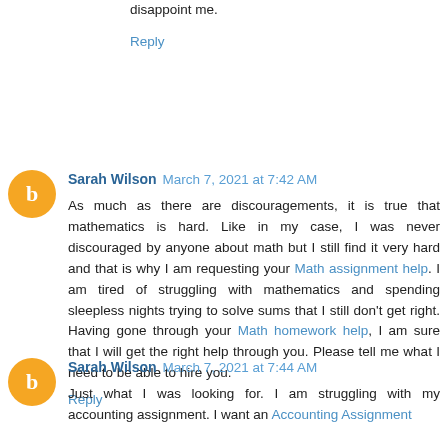disappoint me.
Reply
Sarah Wilson  March 7, 2021 at 7:42 AM
As much as there are discouragements, it is true that mathematics is hard. Like in my case, I was never discouraged by anyone about math but I still find it very hard and that is why I am requesting your Math assignment help. I am tired of struggling with mathematics and spending sleepless nights trying to solve sums that I still don't get right. Having gone through your Math homework help, I am sure that I will get the right help through you. Please tell me what I need to be able to hire you.
Reply
Sarah Wilson  March 7, 2021 at 7:44 AM
Just what I was looking for. I am struggling with my accounting assignment. I want an Accounting Assignment